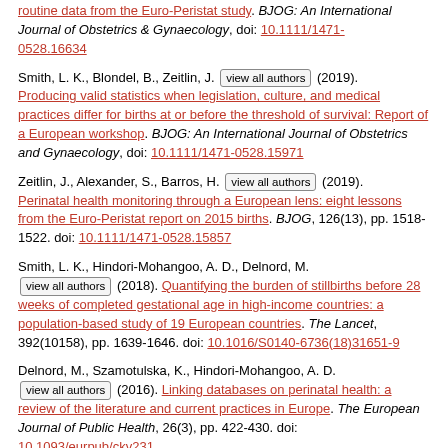routine data from the Euro-Peristat study. BJOG: An International Journal of Obstetrics & Gynaecology, doi: 10.1111/1471-0528.16634
Smith, L. K., Blondel, B., Zeitlin, J. [view all authors] (2019). Producing valid statistics when legislation, culture, and medical practices differ for births at or before the threshold of survival: Report of a European workshop. BJOG: An International Journal of Obstetrics and Gynaecology, doi: 10.1111/1471-0528.15971
Zeitlin, J., Alexander, S., Barros, H. [view all authors] (2019). Perinatal health monitoring through a European lens: eight lessons from the Euro-Peristat report on 2015 births. BJOG, 126(13), pp. 1518-1522. doi: 10.1111/1471-0528.15857
Smith, L. K., Hindori-Mohangoo, A. D., Delnord, M. [view all authors] (2018). Quantifying the burden of stillbirths before 28 weeks of completed gestational age in high-income countries: a population-based study of 19 European countries. The Lancet, 392(10158), pp. 1639-1646. doi: 10.1016/S0140-6736(18)31651-9
Delnord, M., Szamotulska, K., Hindori-Mohangoo, A. D. [view all authors] (2016). Linking databases on perinatal health: a review of the literature and current practices in Europe. The European Journal of Public Health, 26(3), pp. 422-430. doi: 10.1093/eurpub/ckv231